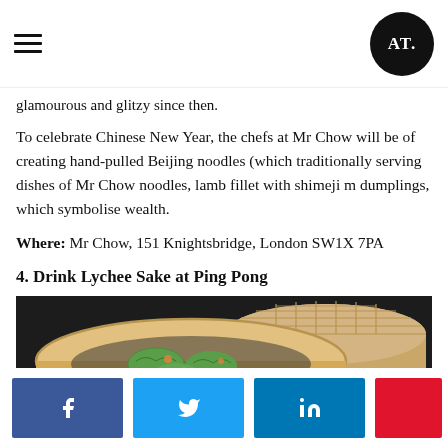AT (logo)
glamourous and glitzy since then.
To celebrate Chinese New Year, the chefs at Mr Chow will be of creating hand-pulled Beijing noodles (which traditionally serving dishes of Mr Chow noodles, lamb fillet with shimeji m dumplings, which symbolise wealth.
Where: Mr Chow, 151 Knightsbridge, London SW1X 7PA
4. Drink Lychee Sake at Ping Pong
[Figure (photo): Bamboo steamer baskets with green dim sum dumplings and garnish on a dark background]
Share buttons: Facebook, Twitter, LinkedIn, red button